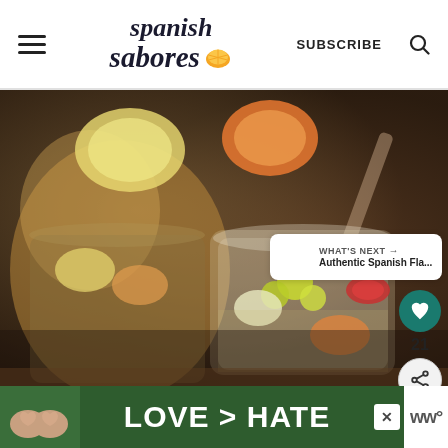Spanish Sabores — SUBSCRIBE
[Figure (photo): Close-up photo of glasses of white sangria with fruit including green grapes, apple slices, and citrus, with a larger pitcher of sangria in the background on a wooden surface.]
21
WHAT'S NEXT → Authentic Spanish Fla...
[Figure (photo): Advertisement banner showing hands making a heart shape over a green background, with text LOVE > HATE in white, and a close (X) button and WW logo on the right.]